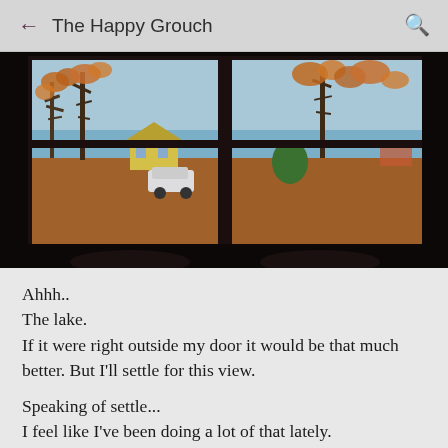The Happy Grouch
[Figure (photo): View through a double-pane window of a lake scene in autumn. Bare trees with orange/brown leaves, a yellow house visible on the left, blue water in the background, fallen leaves on the ground. Photo taken from inside a dark room.]
Ahhh..
The lake.
If it were right outside my door it would be that much better. But I'll settle for this view.
Speaking of settle...
I feel like I've been doing a lot of that lately.